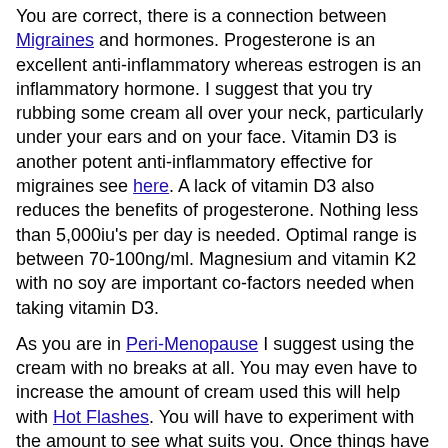You are correct, there is a connection between Migraines and hormones. Progesterone is an excellent anti-inflammatory whereas estrogen is an inflammatory hormone. I suggest that you try rubbing some cream all over your neck, particularly under your ears and on your face. Vitamin D3 is another potent anti-inflammatory effective for migraines see here. A lack of vitamin D3 also reduces the benefits of progesterone. Nothing less than 5,000iu's per day is needed. Optimal range is between 70-100ng/ml. Magnesium and vitamin K2 with no soy are important co-factors needed when taking vitamin D3.
As you are in Peri-Menopause I suggest using the cream with no breaks at all. You may even have to increase the amount of cream used this will help with Hot Flashes. You will have to experiment with the amount to see what suits you. Once things have improved you can slowly reduce the amount of progesterone used remembering to never use less than 100mg per day but I do find that when in peri-menopause 200mg per day is needed. Please read the How to use Progesterone Cream and Estrogen